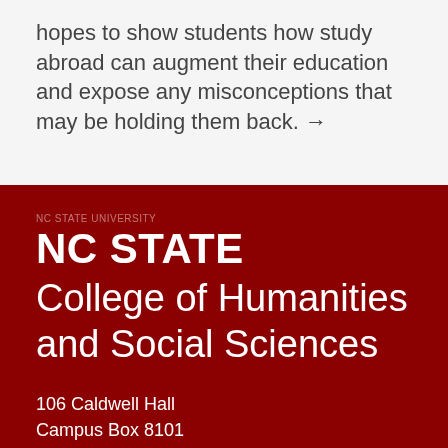hopes to show students how study abroad can augment their education and expose any misconceptions that may be holding them back. →
[Figure (logo): NC STATE University wordmark in white on dark red background, with College of Humanities and Social Sciences text below]
106 Caldwell Hall
Campus Box 8101
Raleigh, NC 27695-8101